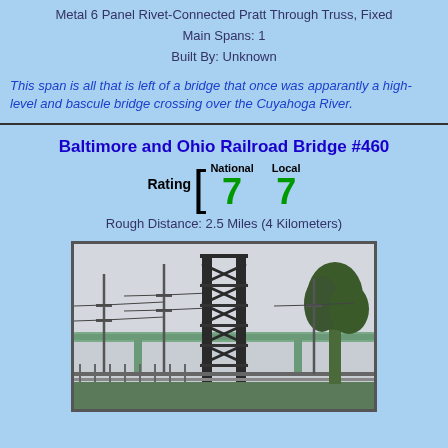Metal 6 Panel Rivet-Connected Pratt Through Truss, Fixed
Main Spans: 1
Built By: Unknown
This span is all that is left of a bridge that once was apparantly a high-level and bascule bridge crossing over the Cuyahoga River.
Baltimore and Ohio Railroad Bridge #460
Rating [ National 7  Local 7
Rough Distance: 2.5 Miles (4 Kilometers)
[Figure (photo): Photograph of a railroad lift bridge tower structure with a highway bridge visible in the background, power lines, and trees on the right side. Overcast sky.]